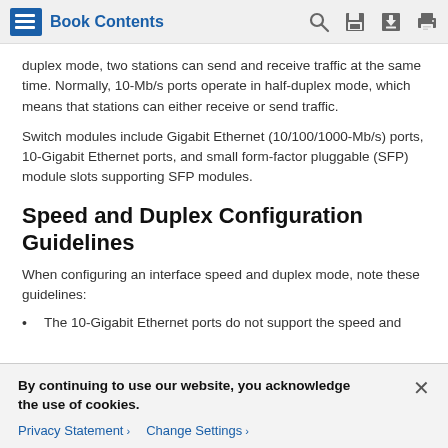Book Contents
duplex mode, two stations can send and receive traffic at the same time. Normally, 10-Mb/s ports operate in half-duplex mode, which means that stations can either receive or send traffic.
Switch modules include Gigabit Ethernet (10/100/1000-Mb/s) ports, 10-Gigabit Ethernet ports, and small form-factor pluggable (SFP) module slots supporting SFP modules.
Speed and Duplex Configuration Guidelines
When configuring an interface speed and duplex mode, note these guidelines:
The 10-Gigabit Ethernet ports do not support the speed and
By continuing to use our website, you acknowledge the use of cookies.
Privacy Statement > Change Settings >